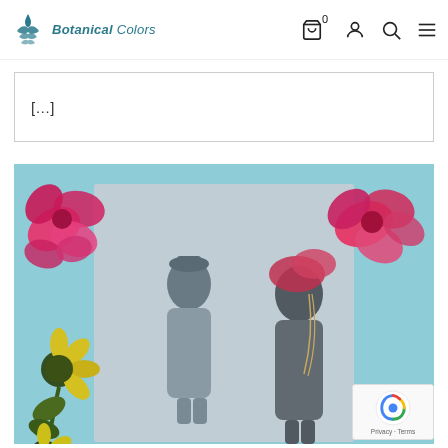Botanical Colors — website header with logo, cart (0), account, search, and menu icons
[...]
[Figure (photo): A collage artwork combining a vintage black-and-white photograph of two people with colorful illustrated flowers (pink/magenta blooms at top left and top right, yellow sunflowers at bottom left) overlaid on a blue-green textured background.]